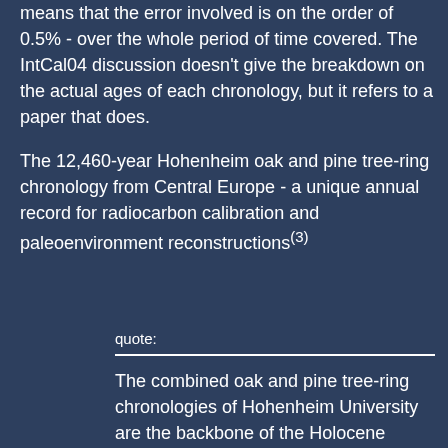means that the error involved is on the order of 0.5% - over the whole period of time covered. The IntCal04 discussion doesn't give the breakdown on the actual ages of each chronology, but it refers to a paper that does.
The 12,460-year Hohenheim oak and pine tree-ring chronology from Central Europe - a unique annual record for radiocarbon calibration and paleoenvironment reconstructions(3)
quote:
The combined oak and pine tree-ring chronologies of Hohenheim University are the backbone of the Holocene radiocarbon calibration for central Europe. Here, we present the revised Holocene oak chronology (HOC) and the Preboreal pine chronology (PPC) with respect to revisions, critical links, and